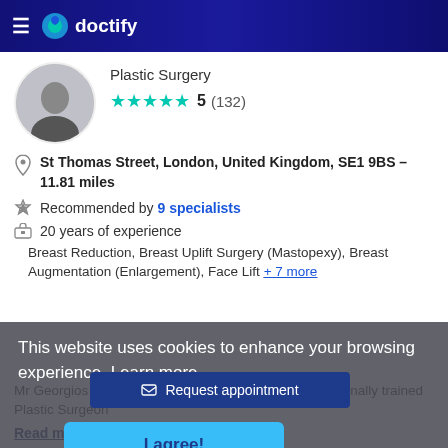doctify
Plastic Surgery
5 (132)
St Thomas Street, London, United Kingdom, SE1 9BS - 11.81 miles
Recommended by 9 specialists
20 years of experience
Breast Reduction, Breast Uplift Surgery (Mastopexy), Breast Augmentation (Enlargement), Face Lift + 7 more
This website uses cookies to enhance your browsing experience. Learn more
Request appointment
I agree!
Mr Georgios Orfaniotis is a board-certified and internationally trained Plastic Surgeon
Read more